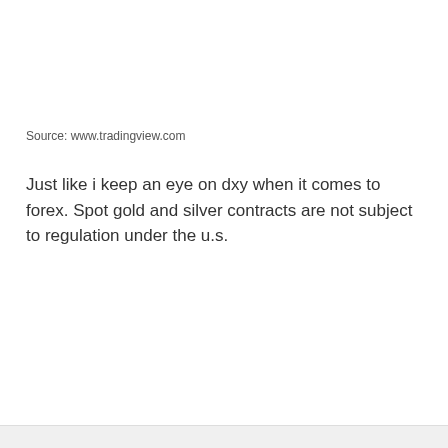Source: www.tradingview.com
Just like i keep an eye on dxy when it comes to forex. Spot gold and silver contracts are not subject to regulation under the u.s.